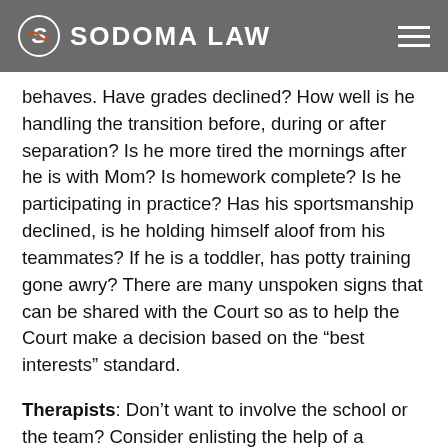SODOMA LAW
behaves. Have grades declined? How well is he handling the transition before, during or after separation? Is he more tired the mornings after he is with Mom? Is homework complete? Is he participating in practice? Has his sportsmanship declined, is he holding himself aloof from his teammates? If he is a toddler, has potty training gone awry? There are many unspoken signs that can be shared with the Court so as to help the Court make a decision based on the “best interests” standard.
Therapists: Don’t want to involve the school or the team? Consider enlisting the help of a therapist to help identify how the child is feeling. For young children, there is a fun way to explore feelings through “play therapy.” Regardless of age, make sure to choose the counselor wisely just as you would your attorney. Ask your attorney who would be a good